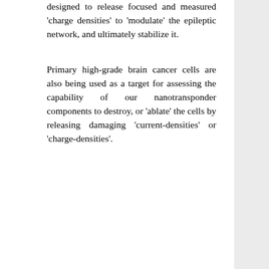designed to release focused and measured 'charge densities' to 'modulate' the epileptic network, and ultimately stabilize it.
Primary high-grade brain cancer cells are also being used as a target for assessing the capability of our nanotransponder components to destroy, or 'ablate' the cells by releasing damaging 'current-densities' or 'charge-densities'.